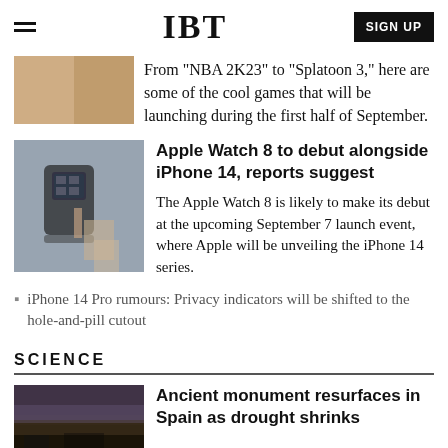IBT | SIGN UP
From "NBA 2K23" to "Splatoon 3," here are some of the cool games that will be launching during the first half of September.
[Figure (photo): Person wearing Apple Watch]
Apple Watch 8 to debut alongside iPhone 14, reports suggest
The Apple Watch 8 is likely to make its debut at the upcoming September 7 launch event, where Apple will be unveiling the iPhone 14 series.
iPhone 14 Pro rumours: Privacy indicators will be shifted to the hole-and-pill cutout
SCIENCE
[Figure (photo): Ancient monument landscape at dusk]
Ancient monument resurfaces in Spain as drought shrinks